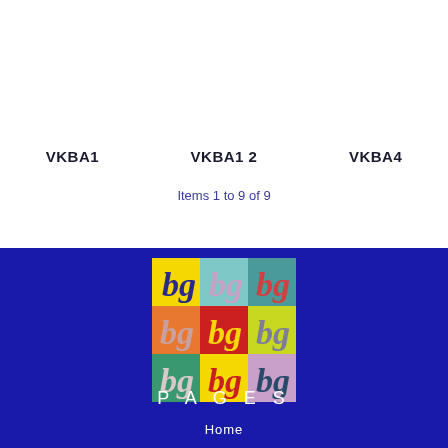VKBA1
VKBA1 2
VKBA4
Items 1 to 9 of 9
[Figure (logo): BG Pages logo: 3x3 grid of colorful squares each containing 'bg' text in various colors]
PAGES
Home